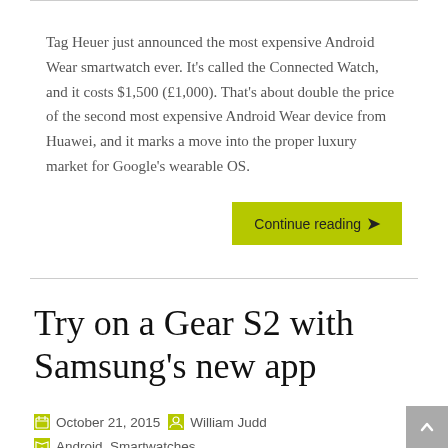Tag Heuer just announced the most expensive Android Wear smartwatch ever. It's called the Connected Watch, and it costs $1,500 (£1,000). That's about double the price of the second most expensive Android Wear device from Huawei, and it marks a move into the proper luxury market for Google's wearable OS.
Continue reading ›
Try on a Gear S2 with Samsung's new app
October 21, 2015 | William Judd | Android, Smartwatches